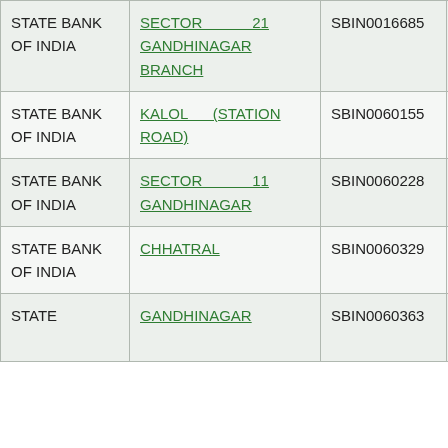| STATE BANK OF INDIA | SECTOR 21 GANDHINAGAR BRANCH | SBIN0016685 | NA |
| STATE BANK OF INDIA | KALOL (STATION ROAD) | SBIN0060155 | 382002002 |
| STATE BANK OF INDIA | SECTOR 11 GANDHINAGAR | SBIN0060228 | 380002128 |
| STATE BANK OF INDIA | CHHATRAL | SBIN0060329 | 382002729 |
| STATE | GANDHINAGAR | SBIN0060363 | 380002129 |